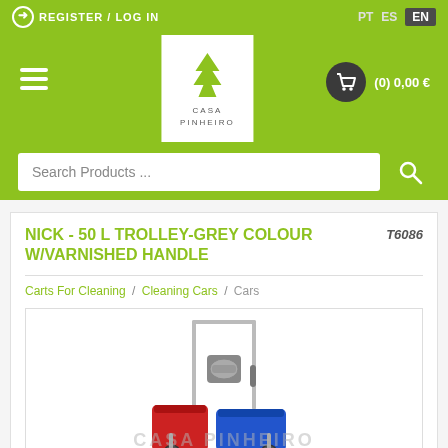REGISTER / LOG IN  |  PT  ES  EN
[Figure (logo): Casa Pinheiro logo - white box with green pine tree icon and text CASA PINHEIRO]
[Figure (infographic): Shopping cart icon with text (0) 0,00 €]
Search Products ...
NICK - 50 L TROLLEY-GREY COLOUR W/VARNISHED HANDLE
T6086
Carts For Cleaning / Cleaning Cars / Cars
[Figure (photo): Grey cleaning trolley with red and blue buckets, mop wringer, and metal handle frame]